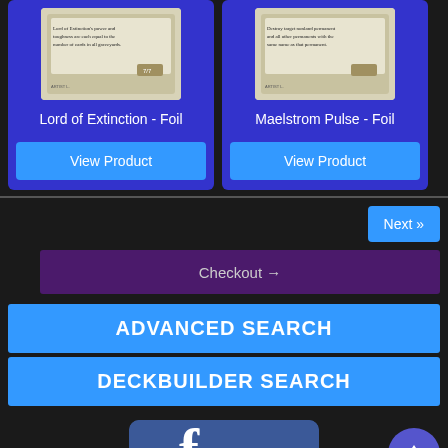[Figure (screenshot): Product card for Lord of Extinction - Foil trading card with card image and View Product button on blue background]
Lord of Extinction - Foil
View Product
[Figure (screenshot): Product card for Maelstrom Pulse - Foil trading card with card image and View Product button on blue background]
Maelstrom Pulse - Foil
View Product
Next »
Checkout →
ADVANCED SEARCH
DECKBUILDER SEARCH
[Figure (logo): Facebook logo icon partially visible at bottom of page]
[Figure (other): Scroll to top button with upward arrow, circular purple button in bottom right]